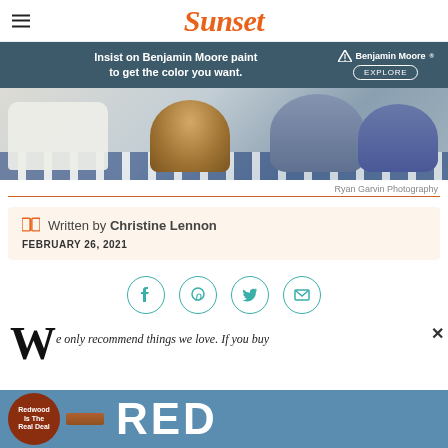Sunset
[Figure (infographic): Benjamin Moore advertisement banner: dark teal background, text 'Insist on Benjamin Moore paint to get the color you want.' with logo and EXPLORE button]
[Figure (photo): Partial photo of outdoor/patio scene with white pillows, woven basket, blue/grey pouffe cushions on striped blue rug]
Ryan Garvin Photography
Written by Christine Lennon
FEBRUARY 26, 2021
[Figure (infographic): Social share buttons: Facebook, Pinterest, Twitter, Email — circular teal-bordered icons]
We only recommend things we love. If you buy
[Figure (infographic): Bottom advertisement: blue background with dark red circular badge reading 'Redwood Is The Real Deal', large white text 'RED']